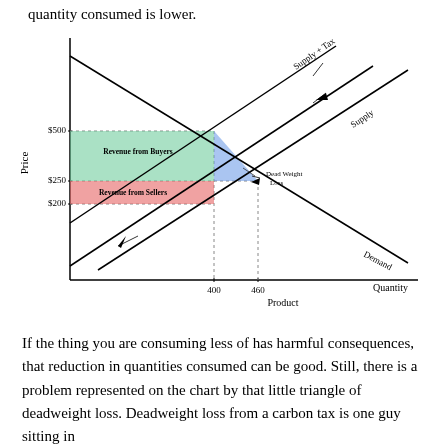quantity consumed is lower.
[Figure (other): Supply and demand diagram showing effect of a tax. Two supply curves (Supply and Supply + Tax) and one demand curve intersect. Shaded areas show Revenue from Buyers (green), Revenue from Sellers (red/pink), and Dead Weight Loss (blue triangle). Price axis shows $500, $250, $200. Quantity axis shows 400 and 460.]
If the thing you are consuming less of has harmful consequences, that reduction in quantities consumed can be good. Still, there is a problem represented on the chart by that little triangle of deadweight loss. Deadweight loss from a carbon tax is one guy sitting in